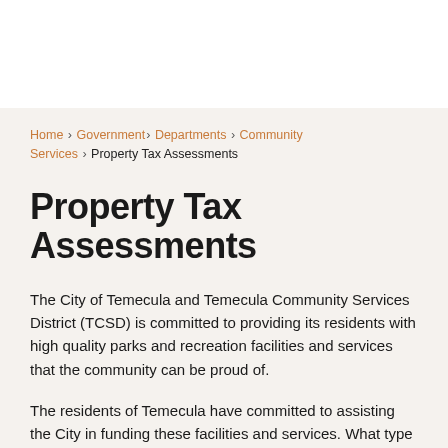Home › Government › Departments › Community Services › Property Tax Assessments
Property Tax Assessments
The City of Temecula and Temecula Community Services District (TCSD) is committed to providing its residents with high quality parks and recreation facilities and services that the community can be proud of.
The residents of Temecula have committed to assisting the City in funding these facilities and services. What type of assessments does the City of Temecula levy on your